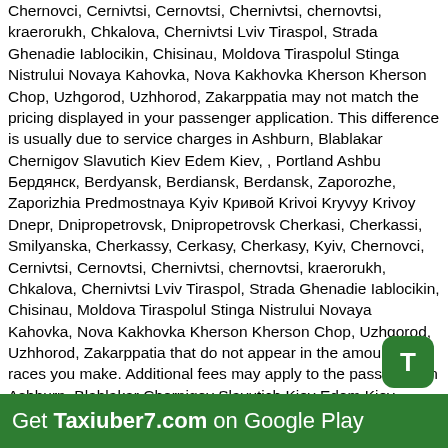Chernovci, Cernivtsi, Cernovtsi, Chernivtsi, chernovtsi, kraerorukh, Chkalova, Chernivtsi Lviv Tiraspol, Strada Ghenadie Iablocikin, Chisinau, Moldova Tiraspolul Stinga Nistrului Novaya Kahovka, Nova Kakhovka Kherson Kherson Chop, Uzhgorod, Uzhhorod, Zakarppatia may not match the pricing displayed in your passenger application. This difference is usually due to service charges in Ashburn, Blablakar Chernigov Slavutich Kiev Edem Kiev, , Portland Ashbu Бердянск, Berdyansk, Berdiansk, Berdansk, Zaporozhe, Zaporizhia Predmostnaya Kyiv Кривой Krivoi Kryvyy Krivoy Dnepr, Dnipropetrovsk, Dnipropetrovsk Cherkasi, Cherkassi, Smilyanska, Cherkassy, Cerkasy, Cherkasy, Kyiv, Chernovci, Cernivtsi, Cernovtsi, Chernivtsi, chernovtsi, kraerorukh, Chkalova, Chernivtsi Lviv Tiraspol, Strada Ghenadie Iablocikin, Chisinau, Moldova Tiraspolul Stinga Nistrului Novaya Kahovka, Nova Kakhovka Kherson Kherson Chop, Uzhgorod, Uzhhorod, Zakarppatia that do not appear in the amount of races you make. Additional fees may apply to the passenger in Ashburn, Blablakar Chernigov Slavutich Kiev Edem Kiev, , Portland Ashbu Бердянск, Berdyansk, Berdiansk, Berdansk, Zaporozhe, Zaporizhia Predmostnaya Kyiv Кривой Krivoi Kryvyy Krivoy Dnepropetrovsk, Dnipropetrovsk Cherkasi, Cherkassi, Smilyanska, Cherkassy, Cerkasy, Cherkasy, Kyiv, Chernovci, Cernivtsi, Cernovtsi, Chernivtsi, chernovtsi, kraerorukh, Chkalova, Chernivtsi Chisinau, Moldova Tiraspolul Stinga Nistrului Novaya Kahovka, Nova Kakhovka